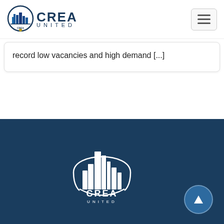[Figure (logo): CREA UNITED logo with circular emblem containing city buildings icon, dark navy blue text reading CREA in bold and UNITED in spaced letters below]
[Figure (other): Hamburger menu button (three horizontal lines) in a rounded rectangle border]
record low vacancies and high demand [...]
[Figure (logo): Large CREA UNITED white logo on dark navy blue footer background, featuring circular arc with city skyline/buildings silhouette in white, with CREA in bold and UNITED in spaced letters below]
[Figure (other): Back-to-top circular button with upward triangle arrow, medium blue color, positioned bottom right of footer]